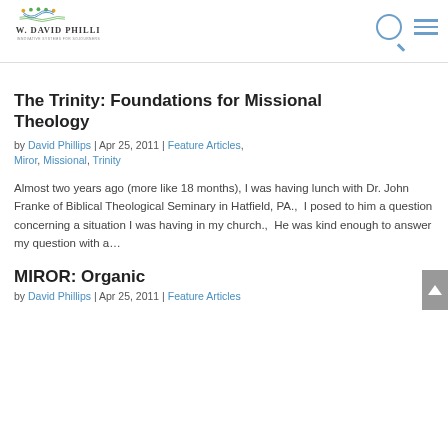W. David Phillips — Innovative Systems for Sojourners
The Trinity: Foundations for Missional Theology
by David Phillips | Apr 25, 2011 | Feature Articles, Miror, Missional, Trinity
Almost two years ago (more like 18 months), I was having lunch with Dr. John Franke of Biblical Theological Seminary in Hatfield, PA., I posed to him a question concerning a situation I was having in my church., He was kind enough to answer my question with a…
MIROR: Organic
by David Phillips | Apr 25, 2011 | Feature Articles